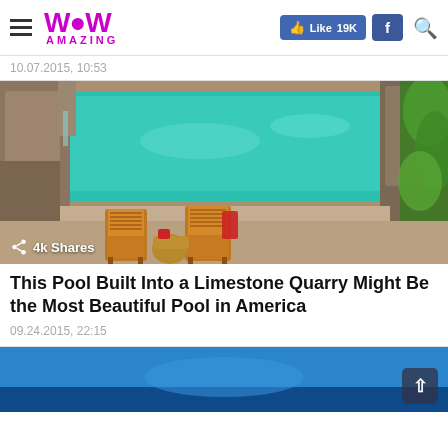WoW Amazing | Like 19K | f | Search
10.07.2015, 10:53
[Figure (photo): A pool built into a limestone quarry with turquoise water, stone walls, two wooden lounge chairs and green vegetation, with a '4k Shares' badge overlay]
This Pool Built Into a Limestone Quarry Might Be the Most Beautiful Pool in America
09.24.2015, 22:15
[Figure (photo): Partial view of another article's image showing blue water/sky, with a scroll-to-top button]